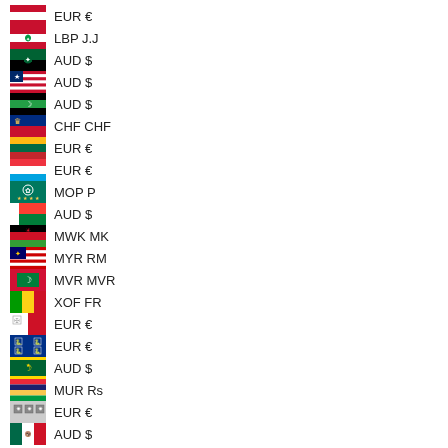EUR €
LBP J.J
AUD $
AUD $
AUD $
CHF CHF
EUR €
EUR €
MOP P
AUD $
MWK MK
MYR RM
MVR MVR
XOF FR
EUR €
EUR €
AUD $
MUR Rs
EUR €
AUD $